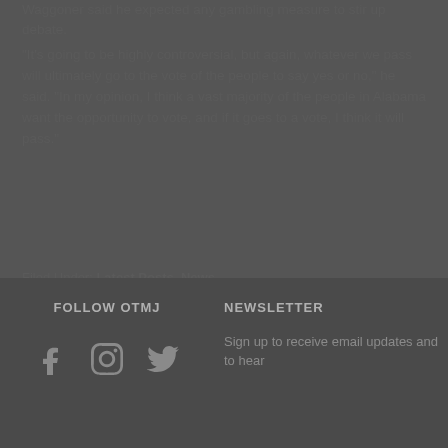Waggoner said he expected any gambling measure to stir up debate.
"It's going to be highly controversial, but again, whatever we pass will ultimately go to the vote of the people to say yes or no," he said. "In my opinion, I think a vast majority of the people in Alabama want the opportunity to vote, and if it goes to a vote, I think it will pass."
Filed Under: Latest Posts, News
FOLLOW OTMJ
NEWSLETTER
Sign up to receive email updates and to hear